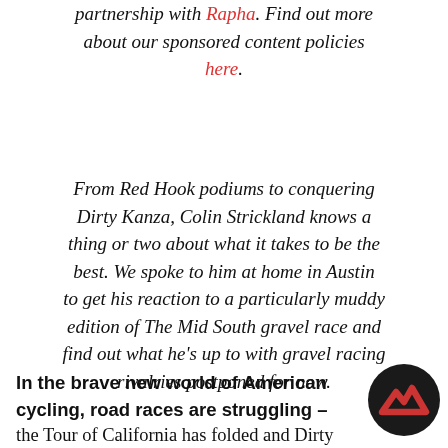partnership with Rapha. Find out more about our sponsored content policies here.
From Red Hook podiums to conquering Dirty Kanza, Colin Strickland knows a thing or two about what it takes to be the best. We spoke to him at home in Austin to get his reaction to a particularly muddy edition of The Mid South gravel race and find out what he's up to with gravel racing rivalries postponed for now.
In the brave new world of American cycling, road races are struggling – the Tour of California has folded and Dirty
[Figure (logo): Black circular logo with a red angular chevron/mountain shape]